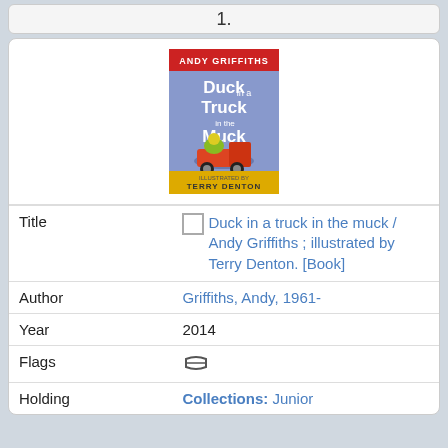1.
[Figure (illustration): Book cover: 'Duck in a Truck in the Muck' by Andy Griffiths, illustrated by Terry Denton. Blue/purple cover with cartoon duck characters in a truck.]
| Field | Value |
| --- | --- |
| Title | Duck in a truck in the muck / Andy Griffiths ; illustrated by Terry Denton. [Book] |
| Author | Griffiths, Andy, 1961- |
| Year | 2014 |
| Flags | [open book icon] |
| Holding | Collections: Junior |